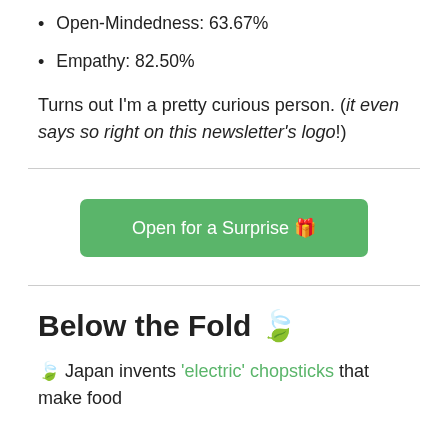Open-Mindedness: 63.67%
Empathy: 82.50%
Turns out I'm a pretty curious person. (it even says so right on this newsletter's logo!)
[Figure (other): Green button labeled 'Open for a Surprise 🎁']
Below the Fold 🌿
🌿 Japan invents 'electric' chopsticks that make food